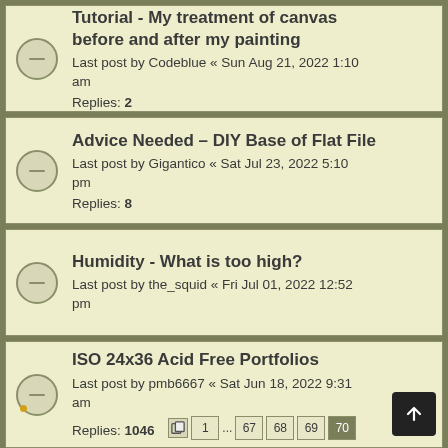Tutorial - My treatment of canvas before and after my painting
Last post by Codeblue « Sun Aug 21, 2022 1:10 am
Replies: 2
Advice Needed – DIY Base of Flat File
Last post by Gigantico « Sat Jul 23, 2022 5:10 pm
Replies: 8
Humidity - What is too high?
Last post by the_squid « Fri Jul 01, 2022 12:52 pm
ISO 24x36 Acid Free Portfolios
Last post by pmb6667 « Sat Jun 18, 2022 9:31 am
Replies: 1046  [pages] 1 ... 67 68 69 70